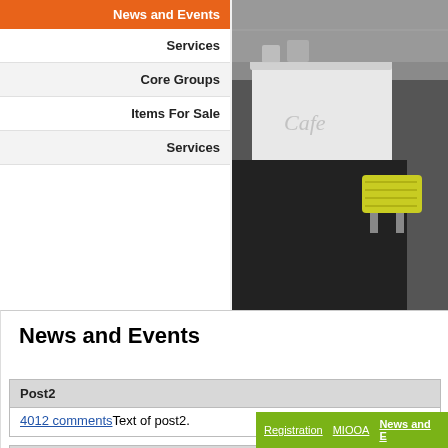News and Events
Services
Core Groups
Items For Sale
Services
[Figure (photo): Photo of a cafe counter with yellow/green stools and modern interior design]
News and Events
Post2
4012 commentsText of post2.
Post1
214188 commentsText of post1.
2 items total
Registration   MIOOA   News and E...